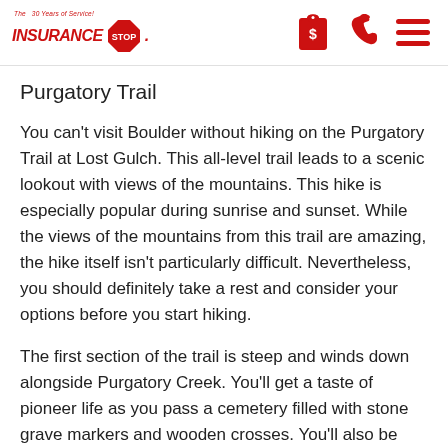The Insurance Stop - 30 Years of Service!
Purgatory Trail
You can't visit Boulder without hiking on the Purgatory Trail at Lost Gulch. This all-level trail leads to a scenic lookout with views of the mountains. This hike is especially popular during sunrise and sunset. While the views of the mountains from this trail are amazing, the hike itself isn't particularly difficult. Nevertheless, you should definitely take a rest and consider your options before you start hiking.
The first section of the trail is steep and winds down alongside Purgatory Creek. You'll get a taste of pioneer life as you pass a cemetery filled with stone grave markers and wooden crosses. You'll also be able to see the Arizon River which flows through the forest and…